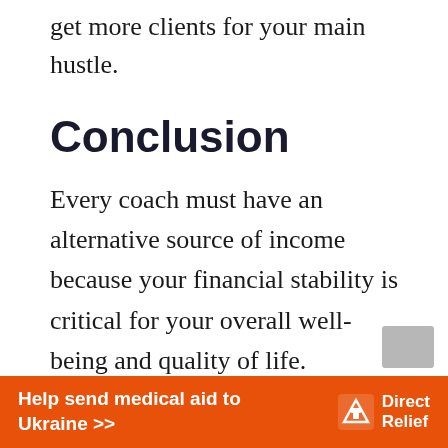get more clients for your main hustle.
Conclusion
Every coach must have an alternative source of income because your financial stability is critical for your overall well-being and quality of life.
Coaches have a unique opportunity to scale up their business model and earn from multiple streams of income.
[Figure (other): Orange advertisement banner for Direct Relief: 'Help send medical aid to Ukraine >>' with Direct Relief logo]